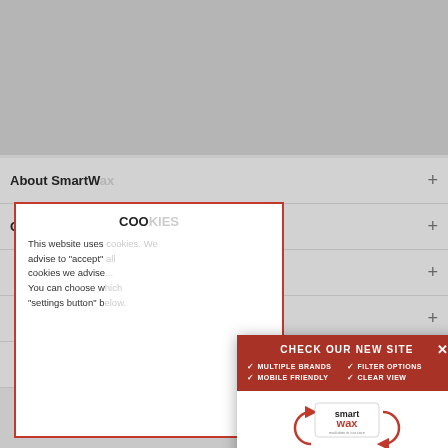About SmartW...
Company Info...
COOKIES
This website uses cookies. We advise to "accept" ... cookies we advise... You can choose w... "settings button" b...
[Figure (screenshot): Advertisement popup for SmartWax/CarCare24.eu with red header saying CHECK OUR NEW SITE, features list (Multiple Brands, Filter Options, Mobile Friendly, Clear View), SmartWax logo, C24 CarCare24.eu logo, circular arrows graphic, and CLICK HERE button]
Settings
Newsletter